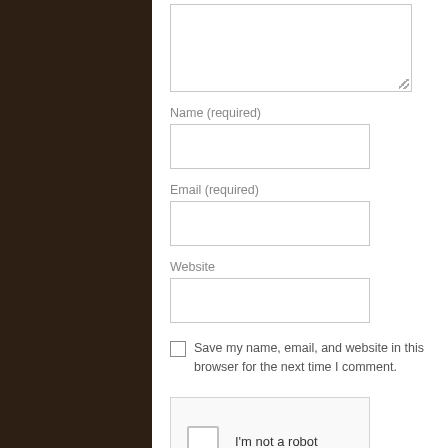[Figure (screenshot): Textarea input box (partially visible at top)]
Name (required)
[Figure (screenshot): Name text input field]
Email (required)
[Figure (screenshot): Email text input field]
Website
[Figure (screenshot): Website text input field]
Save my name, email, and website in this browser for the next time I comment.
[Figure (screenshot): reCAPTCHA widget with checkbox and 'I'm not a robot' label]